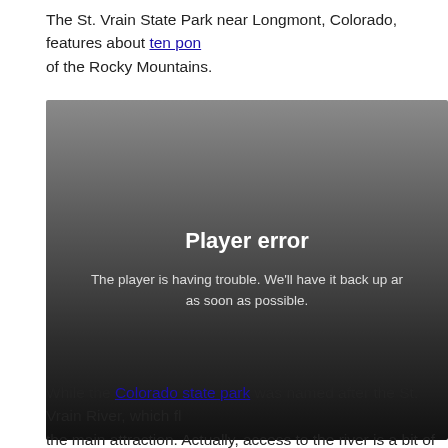The St. Vrain State Park near Longmont, Colorado, features about ten pon of the Rocky Mountains.
[Figure (screenshot): Video player error screen with dark gradient background. Centered text reads 'Player error' in bold white, followed by 'The player is having trouble. We'll have it back up ar as soon as possible.' in lighter gray text.]
While the Colorado state park was named after the St. Vrain River, which fl the main attraction. Actually, access to the river is a bit of a challenge. The